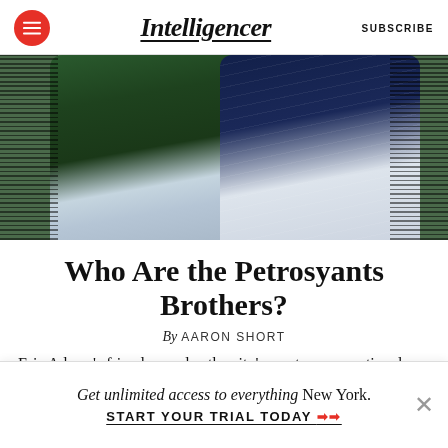Intelligencer | SUBSCRIBE
[Figure (photo): Two men in suits — one in a dark green blazer, one in a navy pinstripe suit — photographed together, with horizontal hatching graphic treatment on the left and right edges.]
Who Are the Petrosyants Brothers?
By AARON SHORT
Eric Adams's friends are also the city's most unconventional restaurant power brokers.
8:00 AM  THE NATIONAL INTEREST
Get unlimited access to everything New York.
START YOUR TRIAL TODAY ➡➡